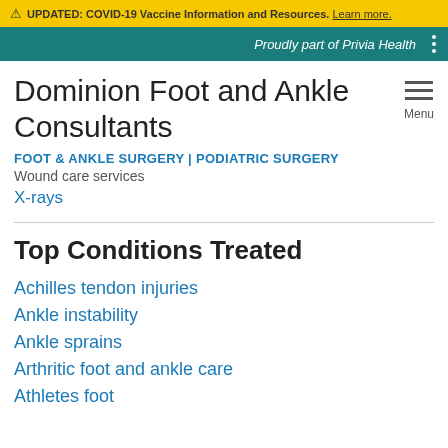⚠ UPDATED: COVID-19 Vaccine Information and Resources. Learn more.
Proudly part of Privia Health
Dominion Foot and Ankle Consultants
FOOT & ANKLE SURGERY | PODIATRIC SURGERY
Wound care services
X-rays
Top Conditions Treated
Achilles tendon injuries
Ankle instability
Ankle sprains
Arthritic foot and ankle care
Athletes foot